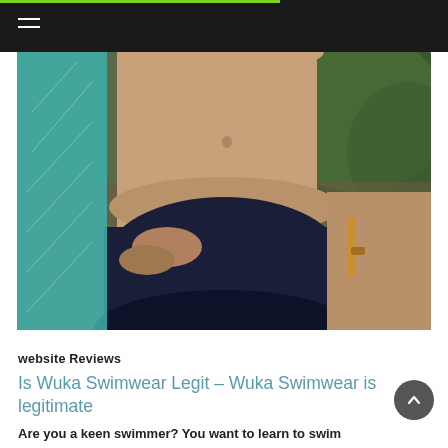[Figure (photo): Close-up photo of a woman in a navy blue bikini bottom, holding a teal surfboard or bag on the left, with a gold bracelet/sunglasses visible on the right. Green foliage background.]
website Reviews
Is Wuka Swimwear Legit – Wuka Swimwear is legitimate
Are you a keen swimmer? You want to learn to swim